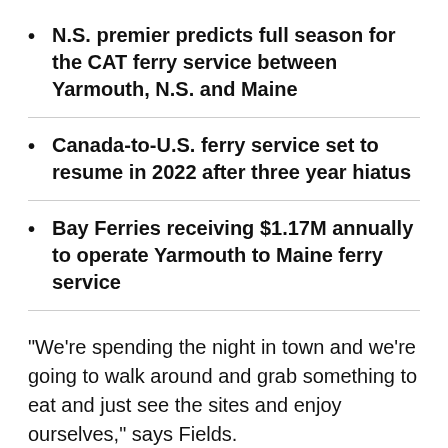N.S. premier predicts full season for the CAT ferry service between Yarmouth, N.S. and Maine
Canada-to-U.S. ferry service set to resume in 2022 after three year hiatus
Bay Ferries receiving $1.17M annually to operate Yarmouth to Maine ferry service
"We’re spending the night in town and we’re going to walk around and grab something to eat and just see the sites and enjoy ourselves," says Fields.
They stayed at the Grand Hotel, and they also weren't the only ones on-board who did.
"Ma...